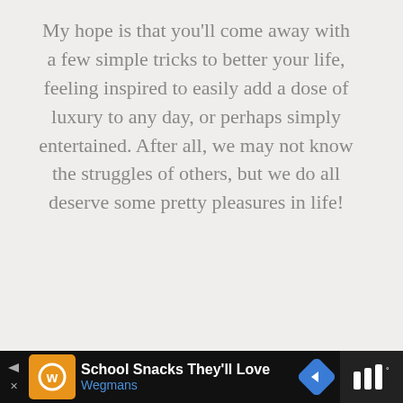My hope is that you'll come away with a few simple tricks to better your life, feeling inspired to easily add a dose of luxury to any day, or perhaps simply entertained. After all, we may not know the struggles of others, but we do all deserve some pretty pleasures in life!
[Figure (other): EMAIL ME button with envelope icon]
[Figure (other): Social media floating buttons: heart (like) and share]
[Figure (other): What's Next panel with thumbnail and text: 27+ Of The Best Fashio...]
[Figure (other): Advertisement banner: School Snacks They'll Love - Wegmans]